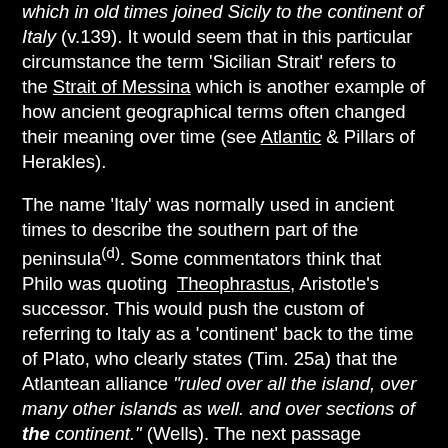which in old times joined Sicily to the continent of Italy (v.139). It would seem that in this particular circumstance the term 'Sicilian Strait' refers to the Strait of Messina which is another example of how ancient geographical terms often changed their meaning over time (see Atlantic & Pillars of Herakles).
The name 'Italy' was normally used in ancient times to describe the southern part of the peninsula(d). Some commentators think that Philo was quoting Theophrastus, Aristotle's successor. This would push the custom of referring to Italy as a 'continent' back to the time of Plato, who clearly states (Tim. 25a) that the Atlantean alliance "ruled over all the island, over many other islands as well. and over sections of the continent." (Wells). The next passage recounts their control of territory in Europe and North Africa, so it naturally begs the question as to what was 'the continent' referred to previously? I suggest that the context had a specific meaning, which, in the absence of any other candidate and the persistent usage over the following two millennia can be reasonably assumed to have been southern Italy.
Centuries later, the historian, Edward Gibbon (1737-1794)